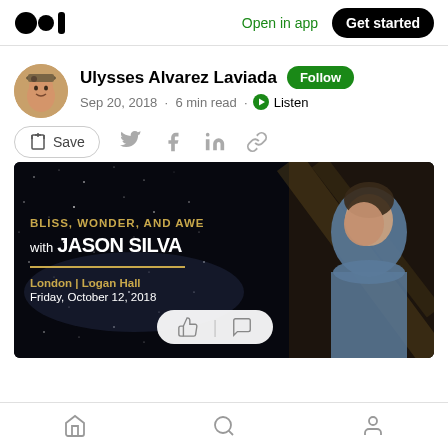Medium logo | Open in app | Get started
Ulysses Alvarez Laviada · Follow · Sep 20, 2018 · 6 min read · Listen
Save (social share icons)
[Figure (photo): Article header image: dark starry night background with text 'BLISS, WONDER, AND AWE with JASON SILVA' and event details 'London | Logan Hall, Friday, October 12, 2018'. A man in a blue shirt is visible on the right side of the image.]
Bottom navigation bar with home, search, and profile icons